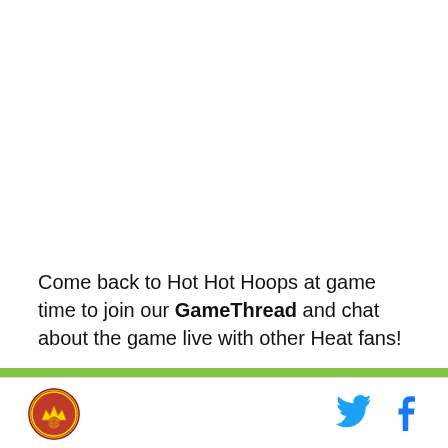Come back to Hot Hot Hoops at game time to join our GameThread and chat about the game live with other Heat fans!
[Figure (logo): Hot Hot Hoops circular logo with red/orange background and crown/basketball imagery]